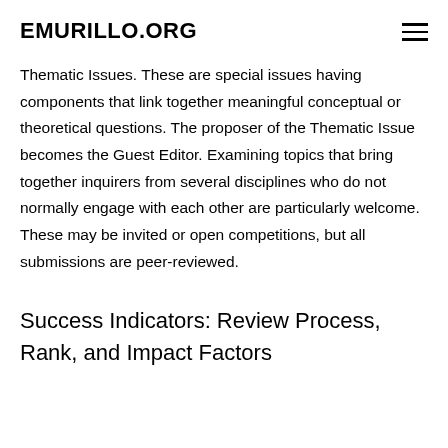EMURILLO.ORG
Thematic Issues. These are special issues having components that link together meaningful conceptual or theoretical questions. The proposer of the Thematic Issue becomes the Guest Editor. Examining topics that bring together inquirers from several disciplines who do not normally engage with each other are particularly welcome. These may be invited or open competitions, but all submissions are peer-reviewed.
Success Indicators: Review Process, Rank, and Impact Factors